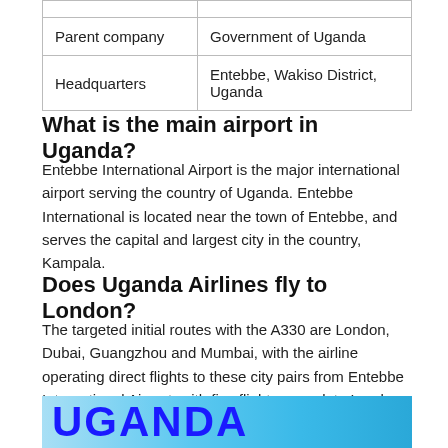|  |  |
| Parent company | Government of Uganda |
| Headquarters | Entebbe, Wakiso District, Uganda |
What is the main airport in Uganda?
Entebbe International Airport is the major international airport serving the country of Uganda. Entebbe International is located near the town of Entebbe, and serves the capital and largest city in the country, Kampala.
Does Uganda Airlines fly to London?
The targeted initial routes with the A330 are London, Dubai, Guangzhou and Mumbai, with the airline operating direct flights to these city pairs from Entebbe International Airport, with five flights a week to London and six to Dubai, according to airline officials.
[Figure (illustration): Partial image banner showing the word UGANDA in large bold blue letters on a light blue sky/water background]